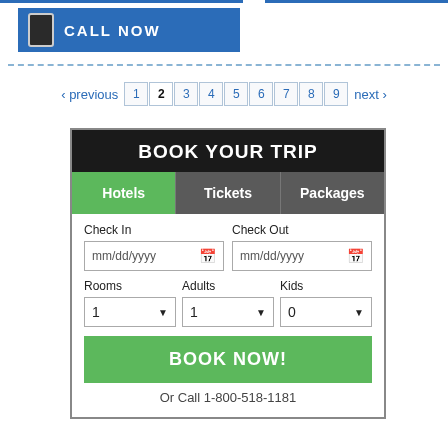[Figure (screenshot): Blue 'CALL NOW' button with phone icon on left]
CALL NOW
‹ previous 1 2 3 4 5 6 7 8 9 next ›
[Figure (screenshot): Book Your Trip widget with Hotels/Tickets/Packages tabs, Check In/Check Out date fields, Rooms/Adults/Kids dropdowns, BOOK NOW! button, and Or Call 1-800-518-1181 text]
BOOK YOUR TRIP
Hotels
Tickets
Packages
Check In
Check Out
mm/dd/yyyy
mm/dd/yyyy
Rooms
Adults
Kids
1
1
0
BOOK NOW!
Or Call 1-800-518-1181